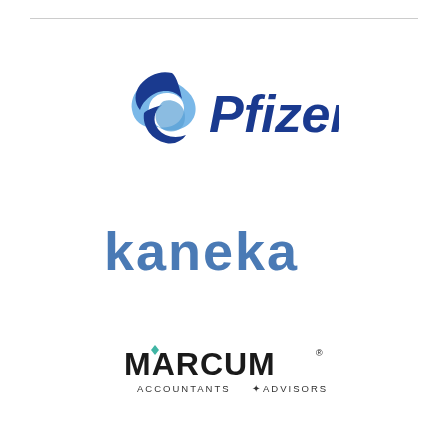[Figure (logo): Pfizer logo — blue swirl icon on the left, italic 'Pfizer' wordmark in dark blue on the right]
[Figure (logo): Kaneka logo — bold teal/blue lowercase letters 'kaneka' with distinctive angular styling]
[Figure (logo): Marcum logo — 'MARCUM' in bold black uppercase with a small teal diamond accent, subtitle 'ACCOUNTANTS + ADVISORS' in small caps below]